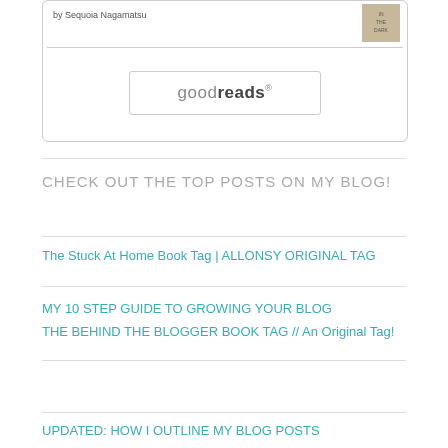[Figure (screenshot): Goodreads book widget showing 'by Sequoia Nagamatsu' byline, a book thumbnail, a divider line, and a Goodreads button/logo.]
CHECK OUT THE TOP POSTS ON MY BLOG!
The Stuck At Home Book Tag | ALLONSY ORIGINAL TAG
MY 10 STEP GUIDE TO GROWING YOUR BLOG
THE BEHIND THE BLOGGER BOOK TAG // An Original Tag!
UPDATED: HOW I OUTLINE MY BLOG POSTS